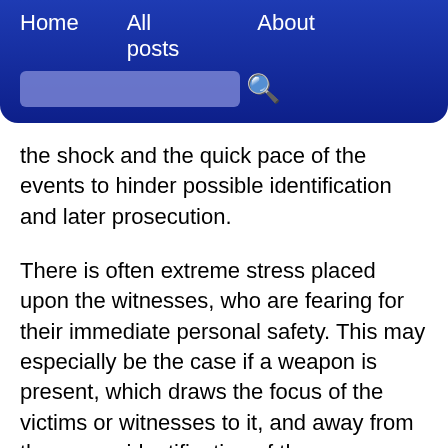Home   All posts   About
the shock and the quick pace of the events to hinder possible identification and later prosecution.
There is often extreme stress placed upon the witnesses, who are fearing for their immediate personal safety. This may especially be the case if a weapon is present, which draws the focus of the victims or witnesses to it, and away from the proper identification of the perpetrator.
Related to the above, witnesses in such testimonies are often not primarily